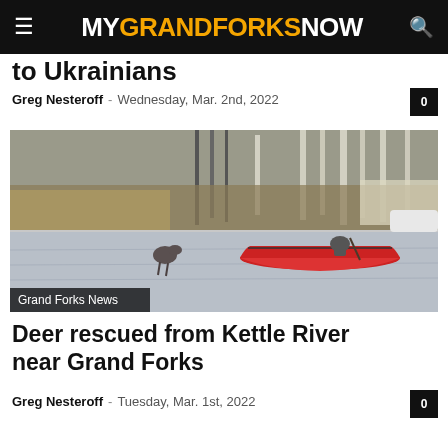MYGRANDFORKSNOW
to Ukrainians
Greg Nesteroff - Wednesday, Mar. 2nd, 2022
[Figure (photo): A person in a red canoe on a river with trees in the background, with a deer swimming in the water nearby. Label reads Grand Forks News.]
Deer rescued from Kettle River near Grand Forks
Greg Nesteroff - Tuesday, Mar. 1st, 2022